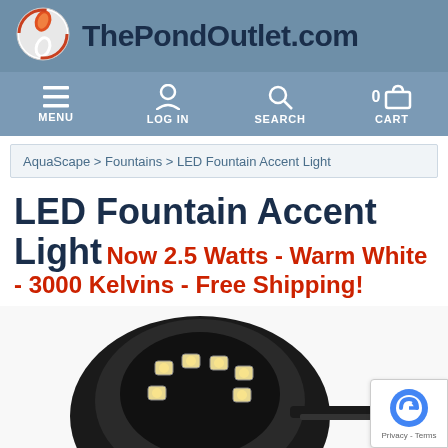ThePondOutlet.com
[Figure (logo): ThePondOutlet.com circular logo with koi fish design]
[Figure (infographic): Navigation bar with MENU, LOG IN, SEARCH, and CART (0) icons]
AquaScape > Fountains > LED Fountain Accent Light
LED Fountain Accent Light Now 2.5 Watts - Warm White - 3000 Kelvins - Free Shipping!
[Figure (photo): LED Fountain Accent Light product photo showing a circular black LED light fixture with multiple warm white LED bulbs]